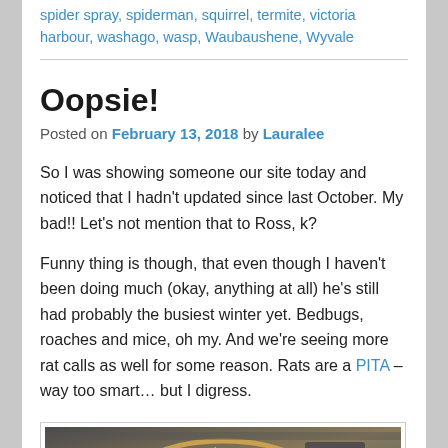spider spray, spiderman, squirrel, termite, victoria harbour, washago, wasp, Waubaushene, Wyvale
Oopsie!
Posted on February 13, 2018 by Lauralee
So I was showing someone our site today and noticed that I hadn't updated since last October. My bad!! Let's not mention that to Ross, k?
Funny thing is though, that even though I haven't been doing much (okay, anything at all) he's still had probably the busiest winter yet. Bedbugs, roaches and mice, oh my. And we're seeing more rat calls as well for some reason. Rats are a PITA – way too smart… but I digress.
[Figure (photo): Photo of a snowshoe or wooden frame structure indoors, with shelving visible in the background]